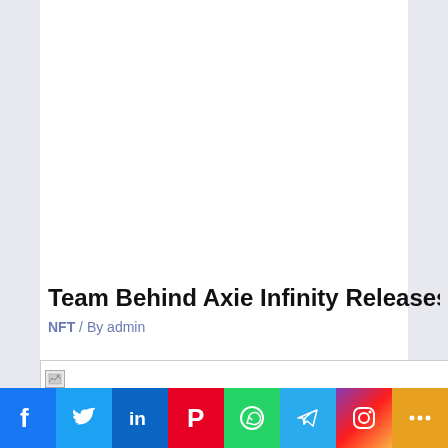[Figure (other): Large white advertisement or empty content block area at the top of the page]
Team Behind Axie Infinity Releases New Game Hub a
NFT / By admin
[Figure (photo): Broken/loading image placeholder below article meta]
[Figure (other): Social share bar with Facebook, Twitter, LinkedIn, Pinterest, WhatsApp, Telegram, Instagram, and More buttons]